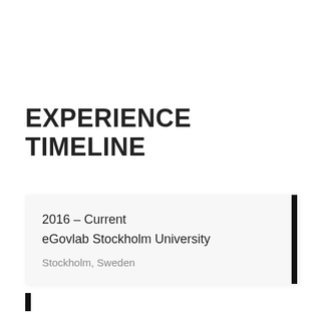EXPERIENCE TIMELINE
2016 – Current
eGovlab Stockholm University
Stockholm, Sweden